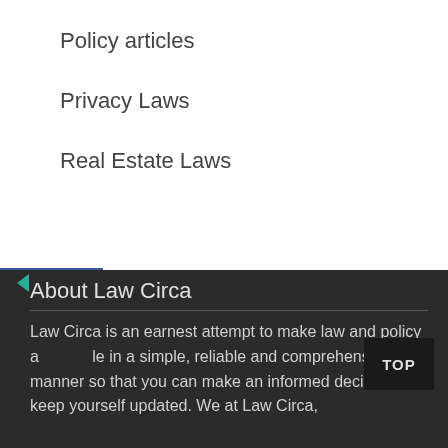Policy articles
Privacy Laws
Real Estate Laws
Laws
emark
[Figure (screenshot): Social media sharing sidebar with Facebook, Twitter, LinkedIn, Pinterest, and Reddit buttons]
About Law Circa
Law Circa is an earnest attempt to make law and policy a le in a simple, reliable and comprehensible manner so that you can make an informed decision and keep yourself updated. We at Law Circa,